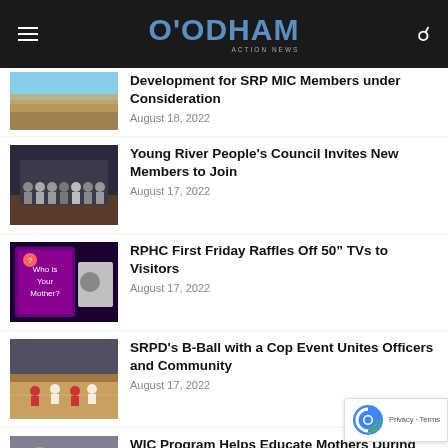[Figure (screenshot): O'Odham Action News website header with hamburger menu, logo, and search icon on dark background]
Development for SRP MIC Members under Consideration
August 18, 2022
Young River People's Council Invites New Members to Join
August 17, 2022
RPHC First Friday Raffles Off 50" TVs to Visitors
August 17, 2022
SRPD's B-Ball with a Cop Event Unites Officers and Community
August 17, 2022
WIC Program Helps Educate Mothers During World Breastfeeding Week